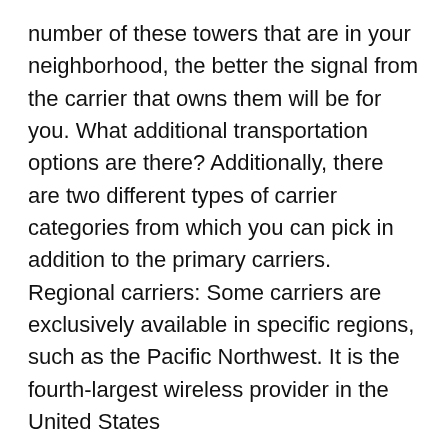number of these towers that are in your neighborhood, the better the signal from the carrier that owns them will be for you. What additional transportation options are there? Additionally, there are two different types of carrier categories from which you can pick in addition to the primary carriers. Regional carriers: Some carriers are exclusively available in specific regions, such as the Pacific Northwest. It is the fourth-largest wireless provider in the United States
their own network covers around 10% of the country, and they collaborate with the other three carriers to expand their coverage elsewhere.
MVNOs are an abbreviation for Mobile Virtual Network. Rather of maintaining their own